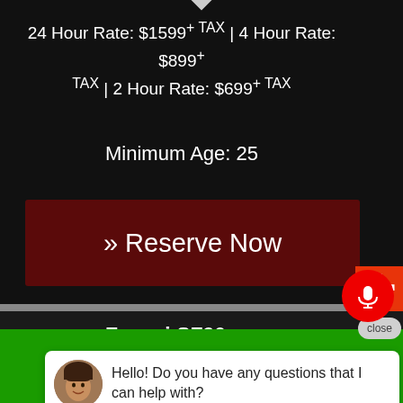24 Hour Rate: $1599+TAX | 4 Hour Rate: $899+TAX | 2 Hour Rate: $699+TAX
Minimum Age: 25
» Reserve Now
Book
Ferrari SF90
close
Hello! Do you have any questions that I can help with?
Call Now